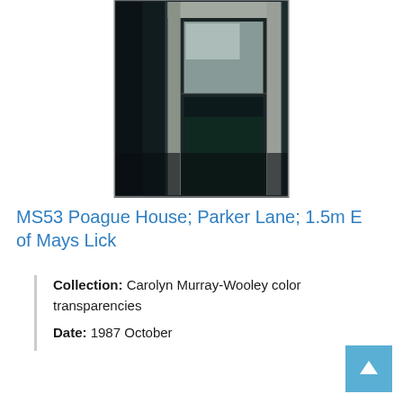[Figure (photo): A dark photograph showing an interior doorway or window frame with frosted glass panel, set in a dim room with dark walls and pale architectural trim.]
MS53 Poague House; Parker Lane; 1.5m E of Mays Lick
Collection: Carolyn Murray-Wooley color transparencies
Date: 1987 October